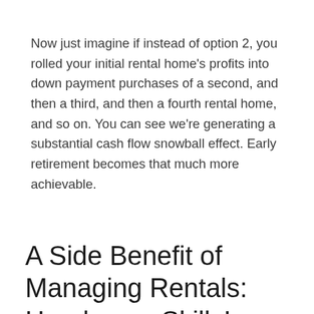Now just imagine if instead of option 2, you rolled your initial rental home's profits into down payment purchases of a second, and then a third, and then a fourth rental home, and so on. You can see we're generating a substantial cash flow snowball effect. Early retirement becomes that much more achievable.
A Side Benefit of Managing Rentals: Handyman Skills!